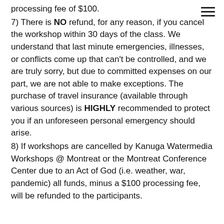≡
processing fee of $100.
7) There is NO refund, for any reason, if you cancel the workshop within 30 days of the class. We understand that last minute emergencies, illnesses, or conflicts come up that can't be controlled, and we are truly sorry, but due to committed expenses on our part, we are not able to make exceptions. The purchase of travel insurance (available through various sources) is HIGHLY recommended to protect you if an unforeseen personal emergency should arise.
8) If workshops are cancelled by Kanuga Watermedia Workshops @ Montreat or the Montreat Conference Center due to an Act of God (i.e. weather, war, pandemic) all funds, minus a $100 processing fee, will be refunded to the participants.